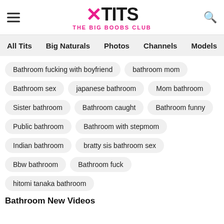XTITS THE BIG BOOBS CLUB
All Tits
Big Naturals
Photos
Channels
Models
Bathroom fucking with boyfriend
bathroom mom
Bathroom sex
japanese bathroom
Mom bathroom
Sister bathroom
Bathroom caught
Bathroom funny
Public bathroom
Bathroom with stepmom
Indian bathroom
bratty sis bathroom sex
Bbw bathroom
Bathroom fuck
hitomi tanaka bathroom
Bathroom New Videos